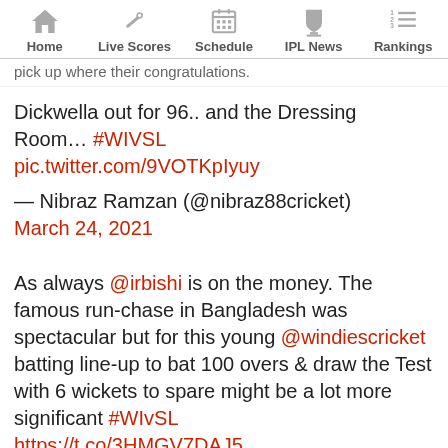Home | Live Scores | Schedule | IPL News | Rankings
pick up where their congratulations.
Dickwella out for 96.. and the Dressing Room... #WIVSL pic.twitter.com/9VOTKpIyuy

— Nibraz Ramzan (@nibraz88cricket) March 24, 2021
As always @irbishi is on the money. The famous run-chase in Bangladesh was spectacular but for this young @windiescricket batting line-up to bat 100 overs & draw the Test with 6 wickets to spare might be a lot more significant #WIvSL https://t.co/3HMGV7DAJ5